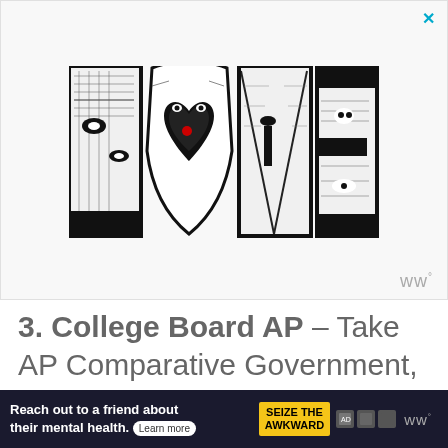[Figure (illustration): Decorative advertisement banner showing the word LOVE in large stylized block letters filled with black-and-white intricate artwork patterns and faces. The O is shaped like a heart. A small red heart/cherry appears in the O letter. Background is white/light gray. A cyan X close button appears in the top right corner.]
3. College Board AP – Take AP Comparative Government, U.S. Government, European History, Human G...
[Figure (infographic): Bottom advertisement banner with dark navy background. Text reads: 'Reach out to a friend about their mental health. Learn more' with a yellow 'SEIZE THE AWKWARD' badge and small sponsor logos.]